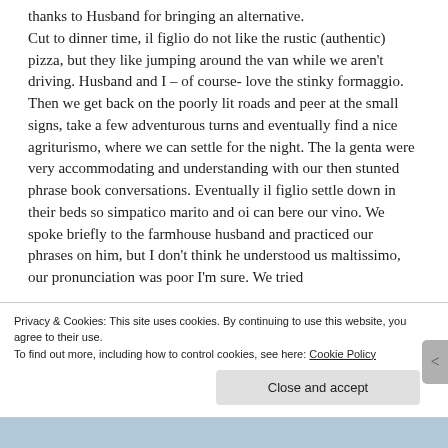thanks to Husband for bringing an alternative. Cut to dinner time, il figlio do not like the rustic (authentic) pizza, but they like jumping around the van while we aren't driving. Husband and I – of course- love the stinky formaggio. Then we get back on the poorly lit roads and peer at the small signs, take a few adventurous turns and eventually find a nice agriturismo, where we can settle for the night. The la genta were very accommodating and understanding with our then stunted phrase book conversations. Eventually il figlio settle down in their beds so simpatico marito and oi can bere our vino. We spoke briefly to the farmhouse husband and practiced our phrases on him, but I don't think he understood us maltissimo, our pronunciation was poor I'm sure. We tried
Privacy & Cookies: This site uses cookies. By continuing to use this website, you agree to their use. To find out more, including how to control cookies, see here: Cookie Policy